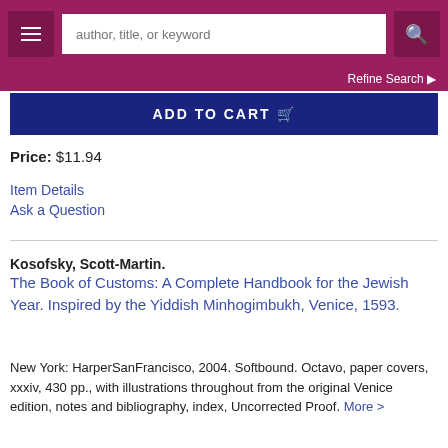author, title, or keyword
Refine Search
ADD TO CART
Price: $11.94
Item Details
Ask a Question
Kosofsky, Scott-Martin. The Book of Customs: A Complete Handbook for the Jewish Year. Inspired by the Yiddish Minhogimbukh, Venice, 1593. New York: HarperSanFrancisco, 2004. Softbound. Octavo, paper covers, xxxiv, 430 pp., with illustrations throughout from the original Venice edition, notes and bibliography, index, Uncorrected Proof. More >